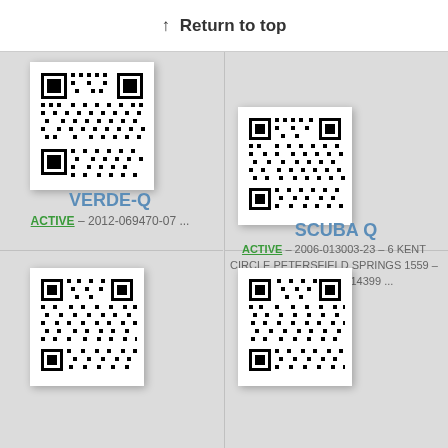↑ Return to top
[Figure (other): QR code for VERDE-Q]
VERDE-Q
ACTIVE – 2012-069470-07 ...
[Figure (other): QR code for SCUBA Q]
SCUBA Q
ACTIVE – 2006-013003-23 – 6 KENT CIRCLE PETERSFIELD SPRINGS 1559 – Number: 0118114399 ...
[Figure (other): QR code bottom left]
[Figure (other): QR code bottom right]